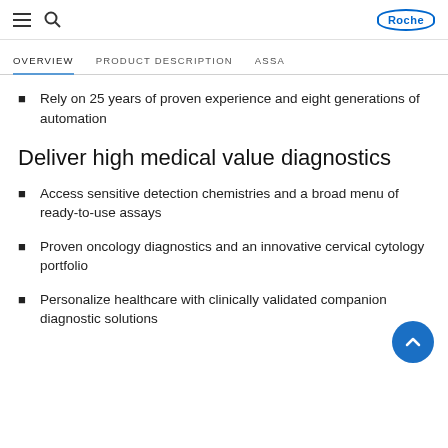Roche
OVERVIEW | PRODUCT DESCRIPTION | ASSA
Rely on 25 years of proven experience and eight generations of automation
Deliver high medical value diagnostics
Access sensitive detection chemistries and a broad menu of ready-to-use assays
Proven oncology diagnostics and an innovative cervical cytology portfolio
Personalize healthcare with clinically validated companion diagnostic solutions